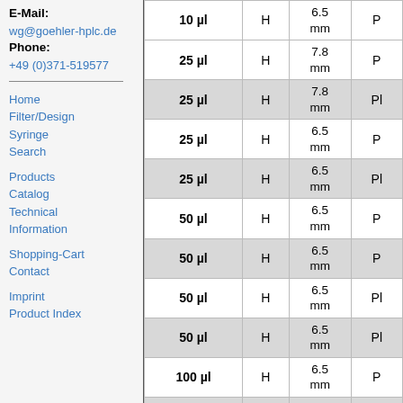E-Mail: wg@goehler-hplc.de Phone: +49 (0)371-519577
Home
Filter/Design Syringe
Search
Products
Catalog
Technical Information
Shopping-Cart
Contact
Imprint
Product Index
| Volume | Type | Dimension |  |
| --- | --- | --- | --- |
| 10 µl | H | 6.5 mm | P |
| 25 µl | H | 7.8 mm | P |
| 25 µl | H | 7.8 mm | Pl |
| 25 µl | H | 6.5 mm | P |
| 25 µl | H | 6.5 mm | Pl |
| 50 µl | H | 6.5 mm | P |
| 50 µl | H | 6.5 mm | P |
| 50 µl | H | 6.5 mm | Pl |
| 50 µl | H | 6.5 mm | Pl |
| 100 µl | H | 6.5 mm | P |
| 100 µl | H | 6.5 mm | P |
|  |  | 6.5 |  |